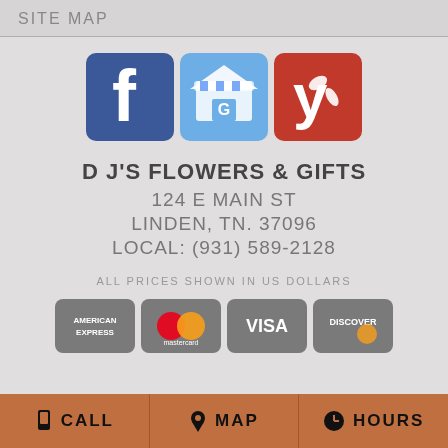SITE MAP
[Figure (logo): Social media icons: Facebook, Google My Business, Yelp]
D J'S FLOWERS & GIFTS
124 E MAIN ST
LINDEN, TN. 37096
LOCAL: (931) 589-2128
ALL PRICES SHOWN IN US DOLLARS
[Figure (logo): Payment method icons: American Express, Mastercard, Visa, Discover]
CALL   MAP   HOURS